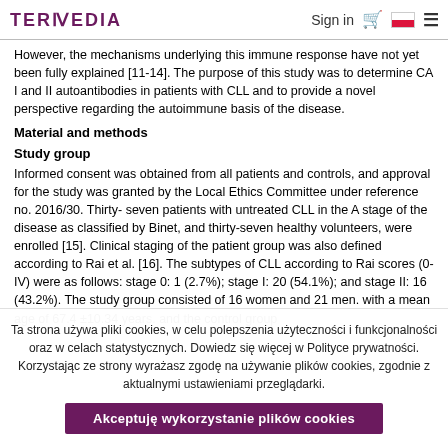TERMEDIA   Sign in   🛒   [PL flag]   ☰
However, the mechanisms underlying this immune response have not yet been fully explained [11-14]. The purpose of this study was to determine CA I and II autoantibodies in patients with CLL and to provide a novel perspective regarding the autoimmune basis of the disease.
Material and methods
Study group
Informed consent was obtained from all patients and controls, and approval for the study was granted by the Local Ethics Committee under reference no. 2016/30. Thirty- seven patients with untreated CLL in the A stage of the disease as classified by Binet, and thirty-seven healthy volunteers, were enrolled [15]. Clinical staging of the patient group was also defined according to Rai et al. [16]. The subtypes of CLL according to Rai scores (0-IV) were as follows: stage 0: 1 (2.7%); stage I: 20 (54.1%); and stage II: 16 (43.2%). The study group consisted of 16 women and 21 men. with a mean age of 67.4 ±10.34 years. and the control group
Ta strona używa pliki cookies, w celu polepszenia użyteczności i funkcjonalności oraz w celach statystycznych. Dowiedz się więcej w Polityce prywatności.
Korzystając ze strony wyrażasz zgodę na używanie plików cookies, zgodnie z aktualnymi ustawieniami przeglądarki.
Akceptuję wykorzystanie plików cookies